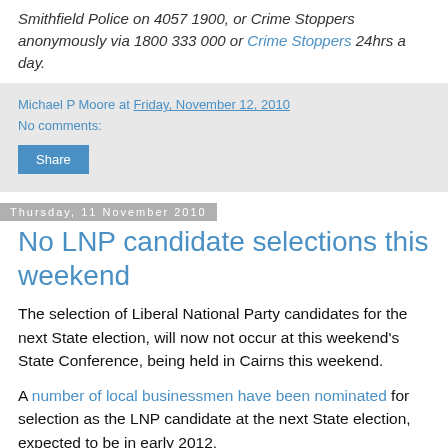Smithfield Police on 4057 1900, or Crime Stoppers anonymously via 1800 333 000 or Crime Stoppers 24hrs a day.
Michael P Moore at Friday, November 12, 2010
No comments:
Share
Thursday, 11 November 2010
No LNP candidate selections this weekend
The selection of Liberal National Party candidates for the next State election, will now not occur at this weekend's State Conference, being held in Cairns this weekend.
A number of local businessmen have been nominated for selection as the LNP candidate at the next State election, expected to be in early 2012.